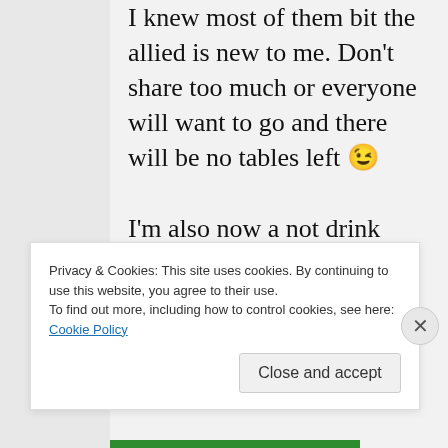I knew most of them bit the allied is new to me. Don't share too much or everyone will want to go and there will be no tables left 😉
I'm also now a not drink inner at picnic. I hate the new layout. Far too crammed. One experience of it at capacity was enough
Privacy & Cookies: This site uses cookies. By continuing to use this website, you agree to their use.
To find out more, including how to control cookies, see here: Cookie Policy